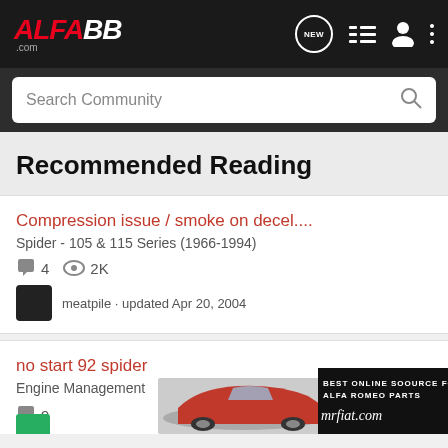ALFA88.com
Search Community
Recommended Reading
Compression issue / smoke on decel....
Spider - 105 & 115 Series (1966-1994)
4   2K
meatpile · updated Apr 20, 2004
no start 92 spider
Engine Management
9
[Figure (illustration): Advertisement banner for mrfiat.com with red Alfa Romeo Spider car and text BEST ONLINE SOOURCE FOR ALFA ROMEO PARTS mrfiat.com]